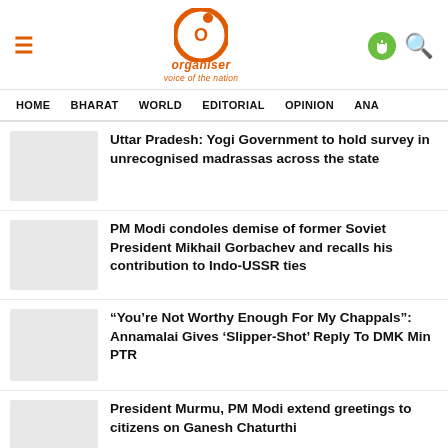Organiser — voice of the nation
HOME  BHARAT  WORLD  EDITORIAL  OPINION  ANA
Uttar Pradesh: Yogi Government to hold survey in unrecognised madrassas across the state
PM Modi condoles demise of former Soviet President Mikhail Gorbachev and recalls his contribution to Indo-USSR ties
“You’re Not Worthy Enough For My Chappals”: Annamalai Gives ‘Slipper-Shot’ Reply To DMK Min PTR
President Murmu, PM Modi extend greetings to citizens on Ganesh Chaturthi
“Godless” Marxist politicians looting temple